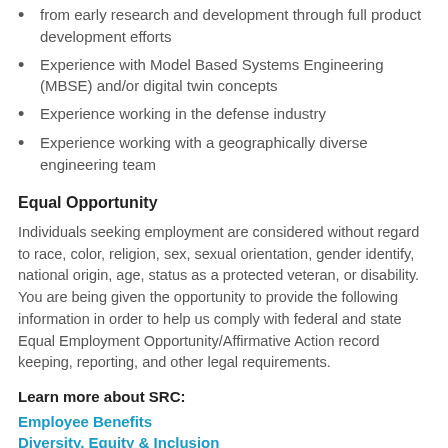from early research and development through full product development efforts
Experience with Model Based Systems Engineering (MBSE) and/or digital twin concepts
Experience working in the defense industry
Experience working with a geographically diverse engineering team
Equal Opportunity
Individuals seeking employment are considered without regard to race, color, religion, sex, sexual orientation, gender identify, national origin, age, status as a protected veteran, or disability. You are being given the opportunity to provide the following information in order to help us comply with federal and state Equal Employment Opportunity/Affirmative Action record keeping, reporting, and other legal requirements.
Learn more about SRC:
Employee Benefits
Diversity, Equity & Inclusion